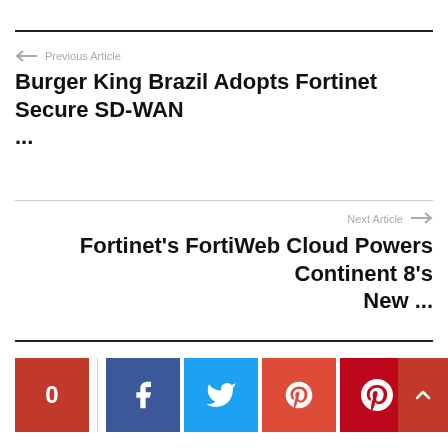← Previous Article
Burger King Brazil Adopts Fortinet Secure SD-WAN ...
Next Article →
Fortinet's FortiWeb Cloud Powers Continent 8's New ...
[Figure (infographic): Social share bar with share count 0 (red), vertical divider, Facebook button (dark blue), Twitter button (light blue), Google+ button (orange-red), Pinterest button (dark red), and scroll-to-top arrow button (red)]